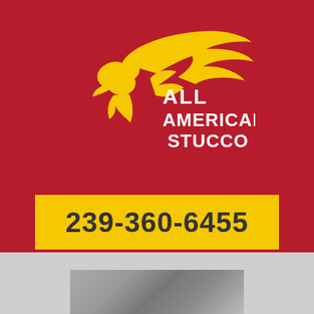[Figure (logo): All American Stucco logo with eagle/wing motif in yellow on dark red background, text reads ALL AMERICAN STUCCO in white]
239-360-6455
[Figure (photo): Black and white photo of stucco wall texture]